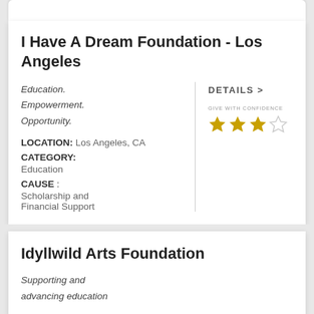I Have A Dream Foundation - Los Angeles
Education. Empowerment. Opportunity.
LOCATION: Los Angeles, CA
CATEGORY: Education
CAUSE : Scholarship and Financial Support
DETAILS >
GIVE WITH CONFIDENCE
[Figure (other): 3 out of 4 stars rating — Give With Confidence badge]
Idyllwild Arts Foundation
Supporting and advancing education